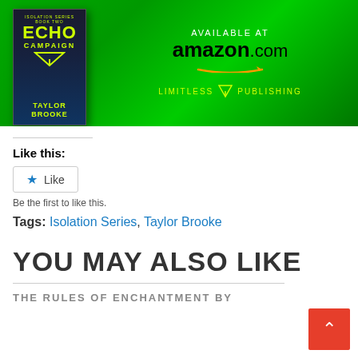[Figure (photo): Book cover for Echo Campaign by Taylor Brooke (Isolation Series Book Two) displayed on a bright green background with text 'AVAILABLE AT amazon.com' and 'LIMITLESS PUBLISHING' logo]
Like this:
Like
Be the first to like this.
Tags: Isolation Series, Taylor Brooke
YOU MAY ALSO LIKE
THE RULES OF ENCHANTMENT BY